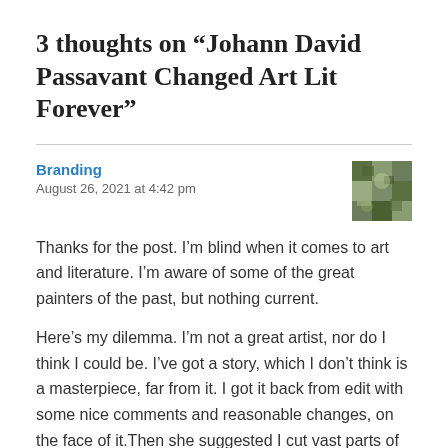3 thoughts on “Johann David Passavant Changed Art Lit Forever”
Branding
August 26, 2021 at 4:42 pm
Thanks for the post. I’m blind when it comes to art and literature. I’m aware of some of the great painters of the past, but nothing current.
Here’s my dilemma. I’m not a great artist, nor do I think I could be. I’ve got a story, which I don’t think is a masterpiece, far from it. I got it back from edit with some nice comments and reasonable changes, on the face of it.Then she suggested I cut vast parts of the